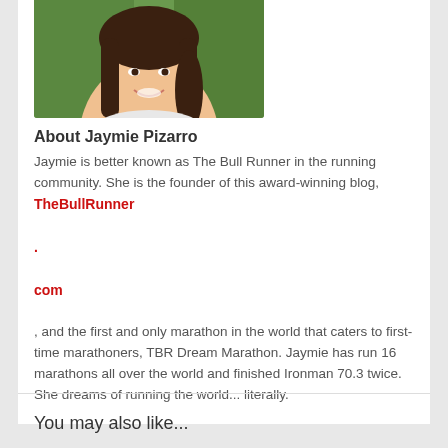[Figure (photo): Portrait photo of a smiling young woman with long dark hair, wearing a white top and necklace, with green foliage in background. Image is cropped at the bottom showing from roughly the chest up.]
About Jaymie Pizarro
Jaymie is better known as The Bull Runner in the running community. She is the founder of this award-winning blog, TheBullRunner
.
com
, and the first and only marathon in the world that caters to first-time marathoners, TBR Dream Marathon. Jaymie has run 16 marathons all over the world and finished Ironman 70.3 twice. She dreams of running the world... literally.
You may also like...